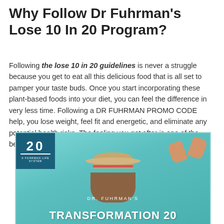Why Follow Dr Fuhrman's Lose 10 In 20 Program?
Following the lose 10 in 20 guidelines is never a struggle because you get to eat all this delicious food that is all set to pamper your taste buds. Once you start incorporating these plant-based foods into your diet, you can feel the difference in very less time. Following a DR FUHRMAN PROMO CODE help, you lose weight, feel fit and energetic, and eliminate any potential health risks. The feeling you get after is one of the best motivators that keep people going.
[Figure (photo): Promotional photo for Dr. Fuhrman's Transformation 20 program. Shows a person from behind wearing a wide-brimmed hat and making a heart shape with their hands against a teal/cyan background. A dark blue logo box in the top-left corner shows '20' with a horizontal bar and small text below. Text overlay reads 'DR. FUHRMAN'S' above large bold white text 'TRANSFORMATION 20'.]